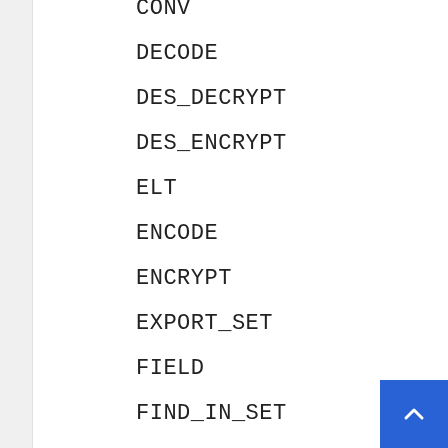CONV
DECODE
DES_DECRYPT
DES_ENCRYPT
ELT
ENCODE
ENCRYPT
EXPORT_SET
FIELD
FIND_IN_SET
HEX
INET_ATON
INET_NTOA
INSERT
INSTR